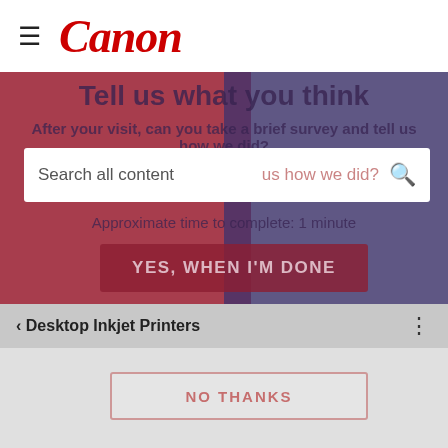Canon
Tell us what you think
After your visit, can you take a brief survey and tell us how we did?
Search all content
Approximate time to complete: 1 minute
YES, WHEN I'M DONE
< Desktop Inkjet Printers
NO THANKS
2 STEPS TO ROCK SOLID PIXMA MX922 NETWORK CONNECTION (& STEP 3 ROCK SOLID CLOUD SERVICE CONNECTION)